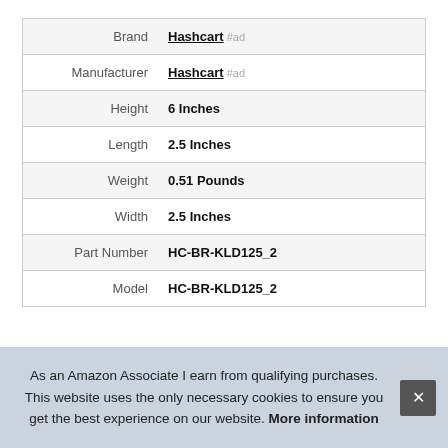| Label | Value |
| --- | --- |
| Brand | Hashcart #ad |
| Manufacturer | Hashcart #ad |
| Height | 6 Inches |
| Length | 2.5 Inches |
| Weight | 0.51 Pounds |
| Width | 2.5 Inches |
| Part Number | HC-BR-KLD125_2 |
| Model | HC-BR-KLD125_2 |
As an Amazon Associate I earn from qualifying purchases. This website uses the only necessary cookies to ensure you get the best experience on our website. More information